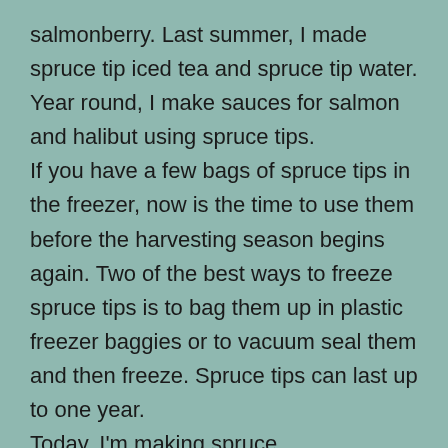salmonberry. Last summer, I made spruce tip iced tea and spruce tip water. Year round, I make sauces for salmon and halibut using spruce tips.
If you have a few bags of spruce tips in the freezer, now is the time to use them before the harvesting season begins again. Two of the best ways to freeze spruce tips is to bag them up in plastic freezer baggies or to vacuum seal them and then freeze. Spruce tips can last up to one year.
Today, I'm making spruce tip/carrot/zucchini/bread with spruce tip cream cheese frosting.